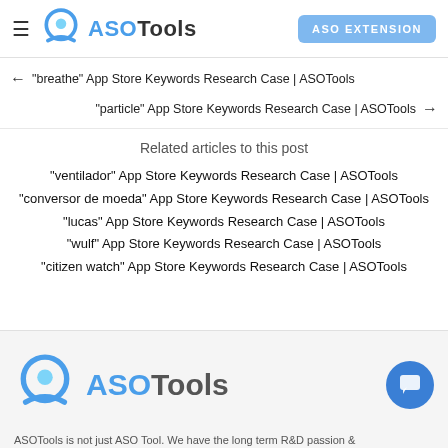ASOTools — ASO EXTENSION
← "breathe" App Store Keywords Research Case | ASOTools
"particle" App Store Keywords Research Case | ASOTools →
Related articles to this post
"ventilador" App Store Keywords Research Case | ASOTools
"conversor de moeda" App Store Keywords Research Case | ASOTools
"lucas" App Store Keywords Research Case | ASOTools
"wulf" App Store Keywords Research Case | ASOTools
"citizen watch" App Store Keywords Research Case | ASOTools
ASOTools is not just ASO Tool. We have the long term R&D passion &